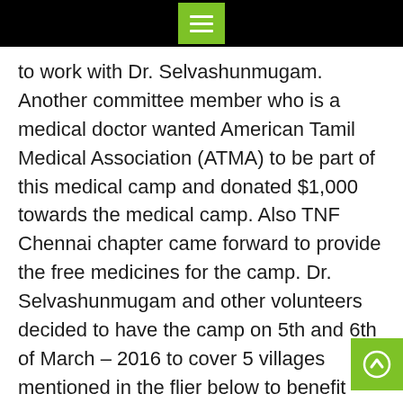[Figure (other): Black top navigation bar with green hamburger menu icon button]
to work with Dr. Selvashunmugam. Another committee member who is a medical doctor wanted American Tamil Medical Association (ATMA) to be part of this medical camp and donated $1,000 towards the medical camp. Also TNF Chennai chapter came forward to provide the free medicines for the camp. Dr. Selvashunmugam and other volunteers decided to have the camp on 5th and 6th of March – 2016 to cover 5 villages mentioned in the flier below to benefit 1600 – 1800 patients in 2 days. Around 12 Siddha Medical practitioners to participate in the camp. The List of medicines were prepared based on the problems of that areas and TNF covered the cost of medicines. Approximate cost of medicines for 2 days was Rs. 1,50,000.